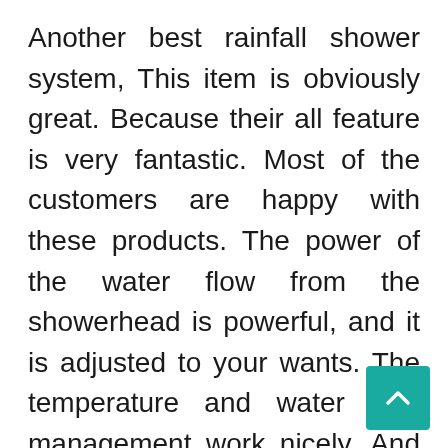Another best rainfall shower system, This item is obviously great. Because their all feature is very fantastic. Most of the customers are happy with these products. The power of the water flow from the showerhead is powerful, and it is adjusted to your wants. The temperature and water flow management work nicely. And no problems when closing the control off to save lots of water without losing the set temperature. It has 10 inches (25 cm*25 cm) 304 stainless steel shower head and a 15.7 in. (40cm) Solid Br… Shower Arm.